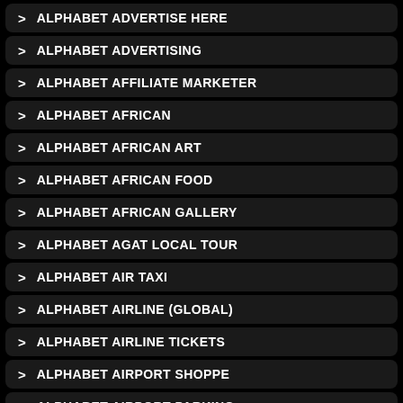> ALPHABET ADVERTISE HERE
> ALPHABET ADVERTISING
> ALPHABET AFFILIATE MARKETER
> ALPHABET AFRICAN
> ALPHABET AFRICAN ART
> ALPHABET AFRICAN FOOD
> ALPHABET AFRICAN GALLERY
> ALPHABET AGAT LOCAL TOUR
> ALPHABET AIR TAXI
> ALPHABET AIRLINE (GLOBAL)
> ALPHABET AIRLINE TICKETS
> ALPHABET AIRPORT SHOPPE
> ALPHABET AIRPORT PARKING